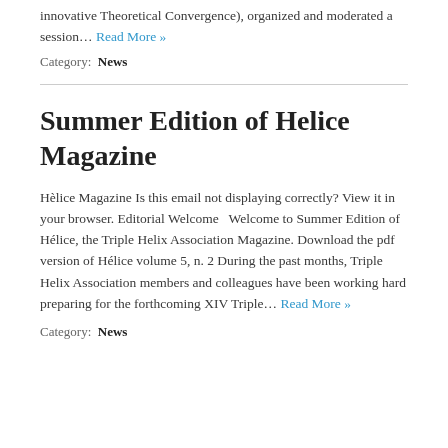innovative Theoretical Convergence), organized and moderated a session… Read More »
Category:  News
Summer Edition of Helice Magazine
Hèlice Magazine Is this email not displaying correctly? View it in your browser. Editorial Welcome   Welcome to Summer Edition of Hélice, the Triple Helix Association Magazine. Download the pdf version of Hélice volume 5, n. 2 During the past months, Triple Helix Association members and colleagues have been working hard preparing for the forthcoming XIV Triple… Read More »
Category:  News